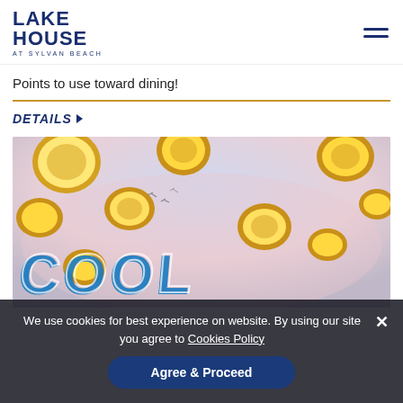LAKE HOUSE AT SYLVAN BEACH
Points to use toward dining!
DETAILS
[Figure (illustration): Promotional image showing multiple gold coins falling/raining down against a pastel sky background, with the text 'COOL' in large blue stylized letters at the bottom]
We use cookies for best experience on website. By using our site you agree to Cookies Policy
Agree & Proceed